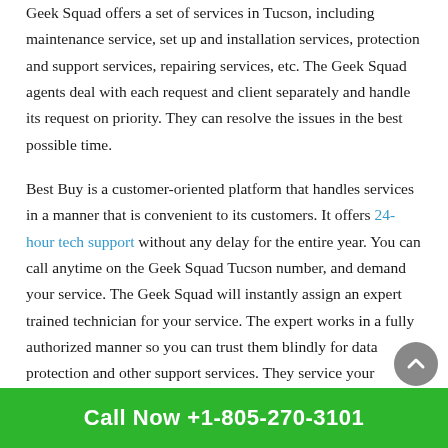Geek Squad offers a set of services in Tucson, including maintenance service, set up and installation services, protection and support services, repairing services, etc. The Geek Squad agents deal with each request and client separately and handle its request on priority. They can resolve the issues in the best possible time.
Best Buy is a customer-oriented platform that handles services in a manner that is convenient to its customers. It offers 24-hour tech support without any delay for the entire year. You can call anytime on the Geek Squad Tucson number, and demand your service. The Geek Squad will instantly assign an expert trained technician for your service. The expert works in a fully authorized manner so you can trust them blindly for data protection and other support services. They service your product hiding your
Call Now +1-805-270-3101